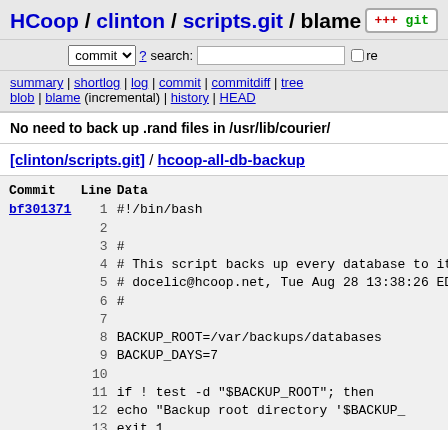HCoop / clinton / scripts.git / blame
commit ? search: re
summary | shortlog | log | commit | commitdiff | tree blob | blame (incremental) | history | HEAD
No need to back up .rand files in /usr/lib/courier/
[clinton/scripts.git] / hcoop-all-db-backup
| Commit | Line | Data |
| --- | --- | --- |
| bf301371 | 1 | #!/bin/bash |
|  | 2 |  |
|  | 3 | # |
|  | 4 | # This script backs up every database to its |
|  | 5 | # docelic@hcoop.net, Tue Aug 28 13:38:26 EDT |
|  | 6 | # |
|  | 7 |  |
|  | 8 | BACKUP_ROOT=/var/backups/databases |
|  | 9 | BACKUP_DAYS=7 |
|  | 10 |  |
|  | 11 | if ! test -d "$BACKUP_ROOT"; then |
|  | 12 |         echo "Backup root directory '$BACKUP_ |
|  | 13 |         exit 1 |
|  | 14 | fi |
|  | 15 |  |
|  | 16 | MYSQL_DBS=`sudo -H mysqlshow | tail -n +4 | |
|  | 17 | echo "Mysql Databases are: $MYSQL_DBS" |
|  | 18 | PGSQL_DBS=`sudo -u postgres psql -template1 |